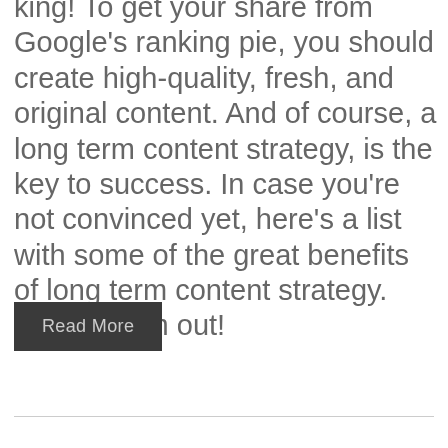king! To get your share from Google's ranking pie, you should create high-quality, fresh, and original content. And of course, a long term content strategy, is the key to success. In case you're not convinced yet, here's a list with some of the great benefits of long term content strategy. Check them out!
Read More